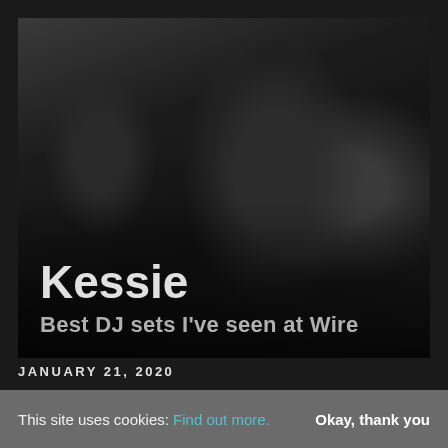[Figure (photo): Dark black-and-white photo of a DJ (Kessie) performing with headphones, overlaid with bold white text 'Kessie' and subtitle 'Best DJ sets I've seen at Wire']
JANUARY 21, 2020
This site uses cookies: Find out more.
Okay, thank you